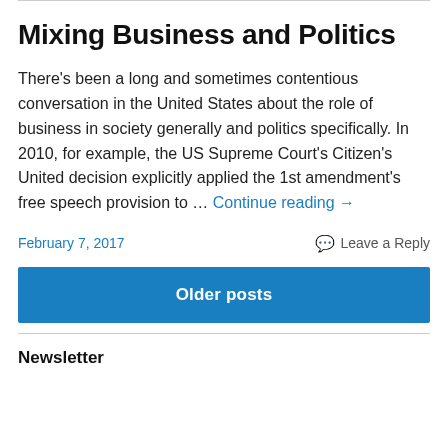Mixing Business and Politics
There's been a long and sometimes contentious conversation in the United States about the role of business in society generally and politics specifically. In 2010, for example, the US Supreme Court's Citizen's United decision explicitly applied the 1st amendment's free speech provision to … Continue reading →
February 7, 2017
Leave a Reply
Older posts
Newsletter